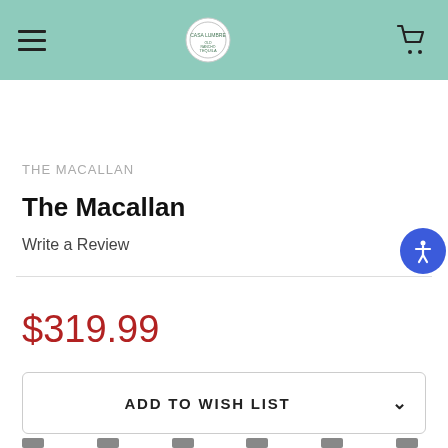THE MACALLAN — navigation header with hamburger menu, logo, and cart icon
THE MACALLAN
The Macallan
Write a Review
$319.99
ADD TO WISH LIST